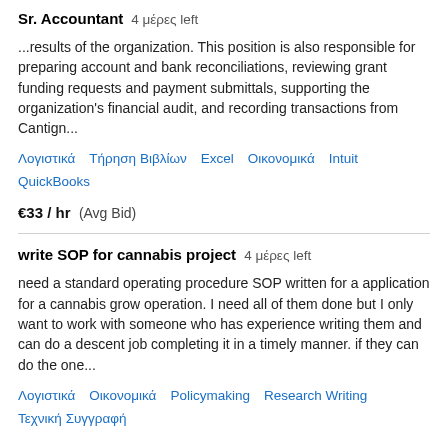Sr. Accountant  4 μέρες left
...results of the organization. This position is also responsible for preparing account and bank reconciliations, reviewing grant funding requests and payment submittals, supporting the organization's financial audit, and recording transactions from Cantign...
Λογιστικά   Τήρηση Βιβλίων   Excel   Οικονομικά   Intuit QuickBooks
€33 / hr  (Avg Bid)
write SOP for cannabis project  4 μέρες left
need a standard operating procedure SOP written for a application for a cannabis grow operation. I need all of them done but I only want to work with someone who has experience writing them and can do a descent job completing it in a timely manner. if they can do the one...
Λογιστικά   Οικονομικά   Policymaking   Research Writing   Τεχνική Συγγραφή